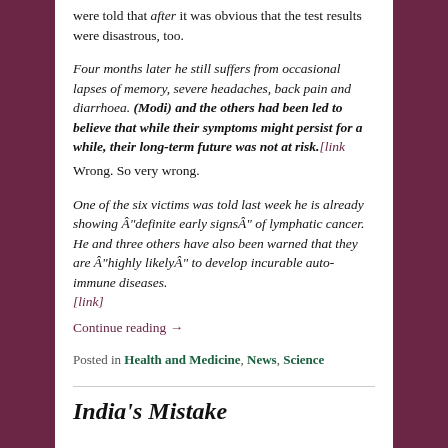were told that after it was obvious that the test results were disastrous, too.
Four months later he still suffers from occasional lapses of memory, severe headaches, back pain and diarrhoea. (Modi) and the others had been led to believe that while their symptoms might persist for a while, their long-term future was not at risk.[link
Wrong. So very wrong.
One of the six victims was told last week he is already showing Â“definite early signsÂ” of lymphatic cancer.
He and three others have also been warned that they are Â“highly likelyÂ” to develop incurable auto-immune diseases.
[link]
Continue reading →
Posted in Health and Medicine, News, Science
India's Mistake